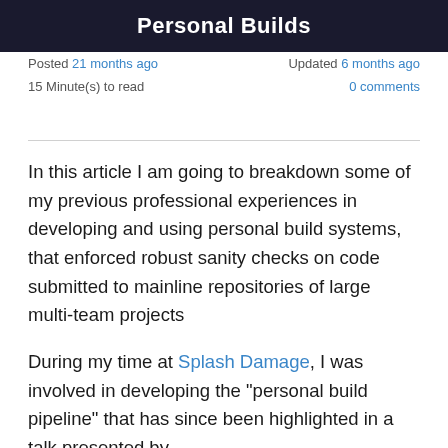Personal Builds
Posted 21 months ago    Updated 6 months ago
15 Minute(s) to read    0 comments
In this article I am going to breakdown some of my previous professional experiences in developing and using personal build systems, that enforced robust sanity checks on code submitted to mainline repositories of large multi-team projects
During my time at Splash Damage, I was involved in developing the "personal build pipeline" that has since been highlighted in a talk presented by